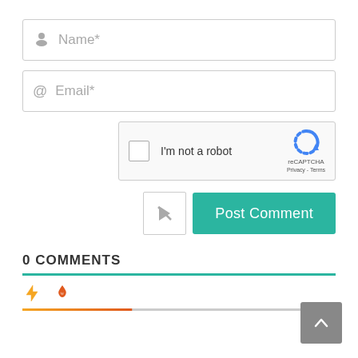[Figure (screenshot): Name input field with person icon placeholder]
[Figure (screenshot): Email input field with @ icon placeholder]
[Figure (screenshot): reCAPTCHA widget with checkbox and I'm not a robot text]
[Figure (screenshot): Notify button and Post Comment button]
0 COMMENTS
[Figure (screenshot): Disqus comment sort icons (lightning bolt and fire) with colored underline bar]
[Figure (screenshot): Back to top arrow button]